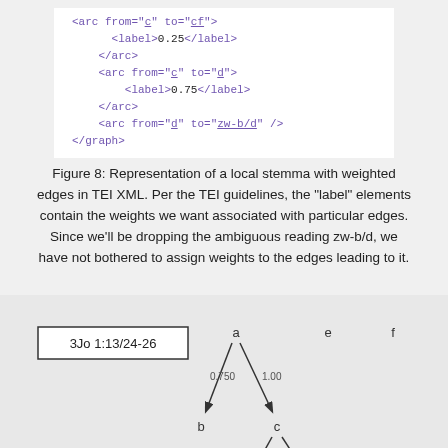[Figure (screenshot): Code snippet showing XML with arc elements: arc from c to cf with label 0.25, arc from c to d with label 0.75, arc from d to zw-b/d, and closing graph tag]
Figure 8: Representation of a local stemma with weighted edges in TEI XML. Per the TEI guidelines, the "label" elements contain the weights we want associated with particular edges. Since we'll be dropping the ambiguous reading zw-b/d, we have not bothered to assign weights to the edges leading to it.
[Figure (other): Stemma diagram for 3Jo 1:13/24-26 showing nodes a, b, c, cf, d, e, f with weighted directed edges: a to b (0.750), a to c (1.00), c to cf (0.250), c to d (0.750)]